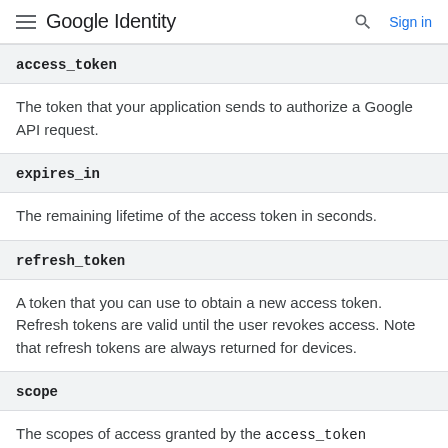Google Identity  Sign in
access_token
The token that your application sends to authorize a Google API request.
expires_in
The remaining lifetime of the access token in seconds.
refresh_token
A token that you can use to obtain a new access token. Refresh tokens are valid until the user revokes access. Note that refresh tokens are always returned for devices.
scope
The scopes of access granted by the access_token expressed as a list of space-delimited, case-sensitive strings.
token_type